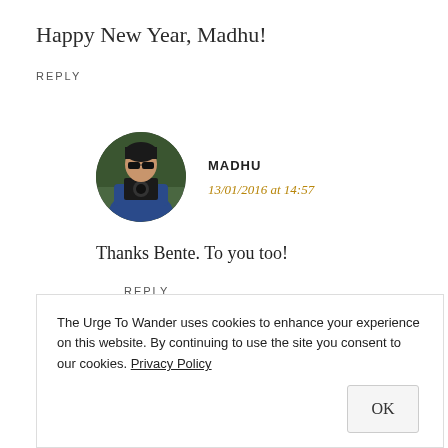Happy New Year, Madhu!
REPLY
[Figure (photo): Circular avatar photo of Madhu, a woman holding a camera, wearing sunglasses and a blue shirt, outdoors with green foliage background.]
MADHU
13/01/2016 at 14:57
Thanks Bente. To you too!
REPLY
The Urge To Wander uses cookies to enhance your experience on this website. By continuing to use the site you consent to our cookies. Privacy Policy
OK